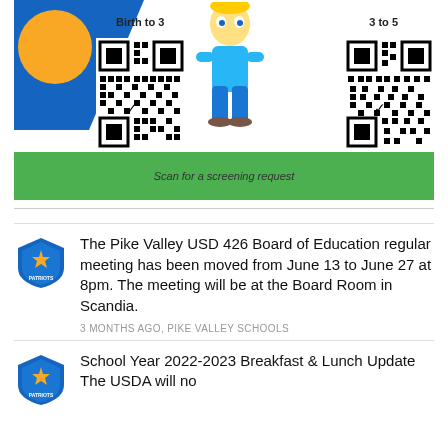[Figure (illustration): Early childhood screening banner with QR codes. Blue and gold background on left. Labels 'Birth to 3' and '3 to 5'. Two QR codes side by side with a cartoon child in the middle. Green bar at bottom reading 'Scan for a screening request'.]
The Pike Valley USD 426 Board of Education regular meeting has been moved from June 13 to June 27 at 8pm. The meeting will be at the Board Room in Scandia.
3 MONTHS AGO, PIKE VALLEY SCHOOLS
School Year 2022-2023 Breakfast & Lunch Update The USDA will no